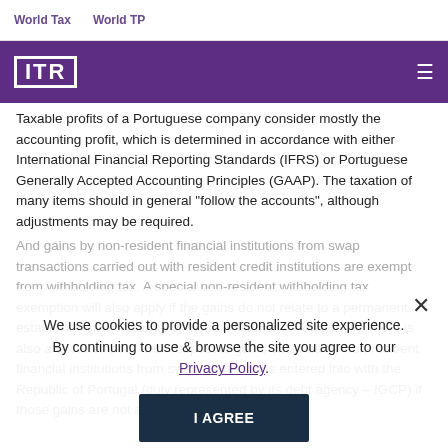World Tax    World TP
[Figure (logo): ITR logo in white on purple header bar with hamburger menu icon]
Taxable profits of a Portuguese company consider mostly the accounting profit, which is determined in accordance with either International Financial Reporting Standards (IFRS) or Portuguese Generally Accepted Accounting Principles (GAAP). The taxation of many items should in general "follow the accounts", although adjustments may be required.
And gains by non-resident financial institutions from swap transactions carried out with resident credit institutions are exempt from withholding tax. A special non-resident withholding tax exemption will also apply if the gains do not relate to a permanent establishment in Portugal of those institutions. Additionally, there is also a tax exemption with respect to gains obtained by non-resident financial institutions from swap transactions entered into with the Republic of Portugal (duly represented by its debt agency – IGCP) if those gains are not allocated to
We use cookies to provide a personalized site experience. By continuing to use & browse the site you agree to our Privacy Policy.
I AGREE